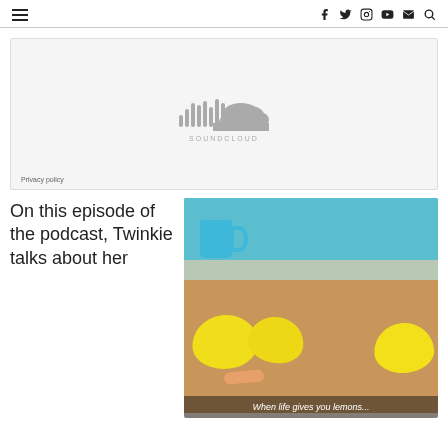Navigation header with hamburger menu and social icons: f (Facebook), Twitter, Instagram, YouTube, Email, Search
[Figure (screenshot): SoundCloud embedded audio player placeholder showing the SoundCloud logo and icon on a light grey background, with a Privacy policy link at bottom left]
Privacy policy
On this episode of the podcast, Twinkie talks about her
[Figure (photo): Photo of crocheted yellow lemon amigurumi figures with a blue polka dot mug in the background, with caption 'When life gives you lemons...']
When life gives you lemons...